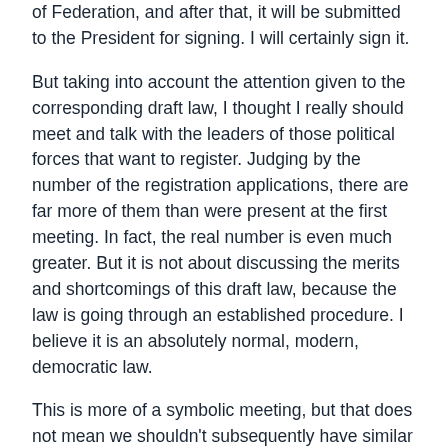of Federation, and after that, it will be submitted to the President for signing. I will certainly sign it.
But taking into account the attention given to the corresponding draft law, I thought I really should meet and talk with the leaders of those political forces that want to register. Judging by the number of the registration applications, there are far more of them than were present at the first meeting. In fact, the real number is even much greater. But it is not about discussing the merits and shortcomings of this draft law, because the law is going through an established procedure. I believe it is an absolutely normal, modern, democratic law.
This is more of a symbolic meeting, but that does not mean we shouldn't subsequently have similar meetings. On the contrary, the political leadership of the country must regularly talk with representatives of all political forces, not just the parties that are in the State Duma, but also members of other political forces, because they reflect the overall spectrum of opinions